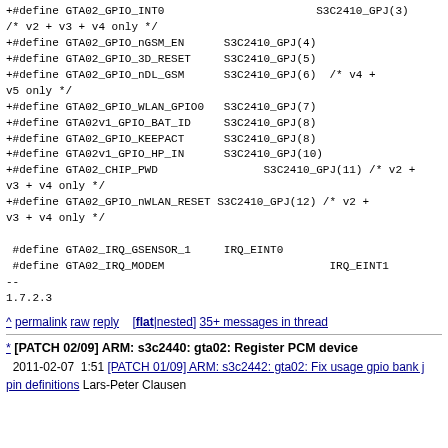+#define GTA02_GPIO_INT0		S3C2410_GPJ(3)
/* v2 + v3 + v4 only */
+#define GTA02_GPIO_nGSM_EN	S3C2410_GPJ(4)
+#define GTA02_GPIO_3D_RESET	S3C2410_GPJ(5)
+#define GTA02_GPIO_nDL_GSM	S3C2410_GPJ(6)	/* v4 + v5 only */
+#define GTA02_GPIO_WLAN_GPIO0	S3C2410_GPJ(7)
+#define GTA02v1_GPIO_BAT_ID	S3C2410_GPJ(8)
+#define GTA02_GPIO_KEEPACT	S3C2410_GPJ(8)
+#define GTA02v1_GPIO_HP_IN	S3C2410_GPJ(10)
+#define GTA02_CHIP_PWD		S3C2410_GPJ(11)	/* v2 + v3 + v4 only */
+#define GTA02_GPIO_nWLAN_RESET	S3C2410_GPJ(12)	/* v2 + v3 + v4 only */

 #define GTA02_IRQ_GSENSOR_1	IRQ_EINT0
 #define GTA02_IRQ_MODEM		IRQ_EINT1
--
1.7.2.3
^ permalink raw reply [flat|nested] 35+ messages in thread
* [PATCH 02/09] ARM: s3c2440: gta02: Register PCM device
  2011-02-07  1:51 [PATCH 01/09] ARM: s3c2442: gta02: Fix usage gpio bank j pin definitions Lars-Peter Clausen